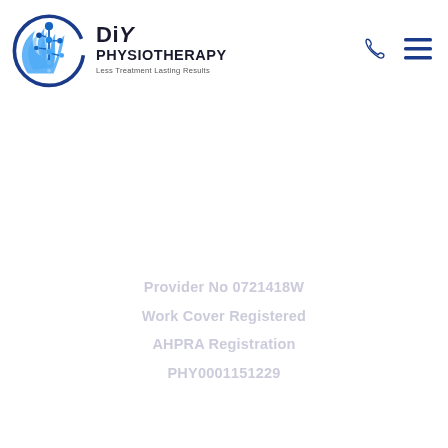[Figure (logo): DIY Physiotherapy logo with circular blue flame/spine graphic and text 'DiY PHYSIOTHERAPY Less Treatment Lasting Results']
Provider No 0721418W
Work Cover Registered
AHPRA Registration
PHY0001151229